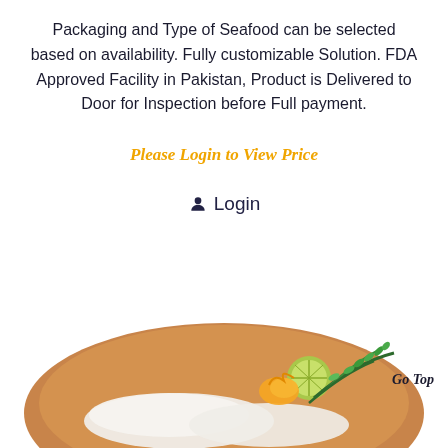Packaging and Type of Seafood can be selected based on availability. Fully customizable Solution. FDA Approved Facility in Pakistan, Product is Delivered to Door for Inspection before Full payment.
Please Login to View Price
Login
[Figure (photo): Photo of seafood (white fish fillets) presented on a round wooden cutting board, garnished with fresh rosemary, lime slice, and yellow pepper.]
Go Top